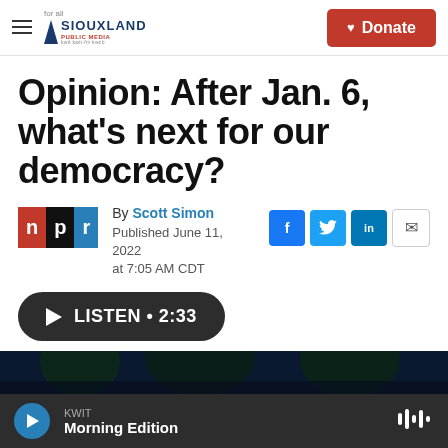Siouxland Public Media — for all | Donate
Opinion: After Jan. 6, what's next for our democracy?
By Scott Simon
Published June 11, 2022 at 7:05 AM CDT
LISTEN • 2:33
[Figure (photo): Dark image of trees against a night/dusk sky]
KWIT
Morning Edition